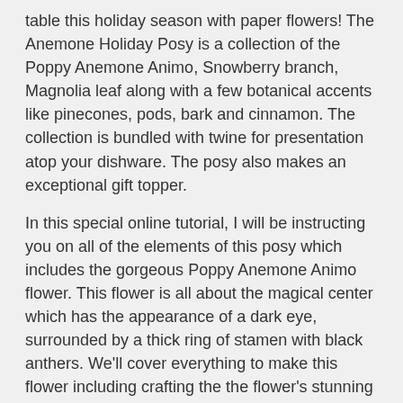table this holiday season with paper flowers! The Anemone Holiday Posy is a collection of the Poppy Anemone Animo, Snowberry branch, Magnolia leaf along with a few botanical accents like pinecones, pods, bark and cinnamon. The collection is bundled with twine for presentation atop your dishware. The posy also makes an exceptional gift topper.
In this special online tutorial, I will be instructing you on all of the elements of this posy which includes the gorgeous Poppy Anemone Animo flower. This flower is all about the magical center which has the appearance of a dark eye, surrounded by a thick ring of stamen with black anthers. We'll cover everything to make this flower including crafting the the flower's stunning center, tinting the base of the petals and assembling all of the parts to keep the flower neat and trim, even from the underside.
As with all of my courses, even if you are an absolute beginner to paper flower making, the instruction provided is comprehensive and detailed to walk you through each and every step until you complete your first flower! You'll be amazed by your achievement!